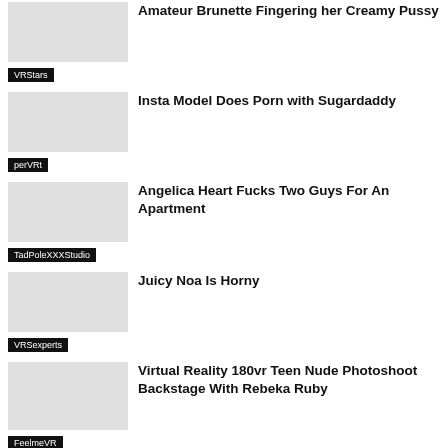Amateur Brunette Fingering her Creamy Pussy
VRStars
Insta Model Does Porn with Sugardaddy
perVRt
Angelica Heart Fucks Two Guys For An Apartment
TadPoleXXXStudio
Juicy Noa Is Horny
VRSexperts
Virtual Reality 180vr Teen Nude Photoshoot Backstage With Rebeka Ruby
FeelmeVR